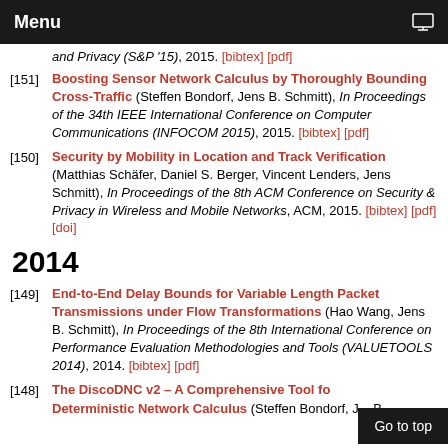Menu
[151] Boosting Sensor Network Calculus by Thoroughly Bounding Cross-Traffic (Steffen Bondorf, Jens B. Schmitt), In Proceedings of the 34th IEEE International Conference on Computer Communications (INFOCOM 2015), 2015. [bibtex] [pdf]
[150] Security by Mobility in Location and Track Verification (Matthias Schäfer, Daniel S. Berger, Vincent Lenders, Jens Schmitt), In Proceedings of the 8th ACM Conference on Security & Privacy in Wireless and Mobile Networks, ACM, 2015. [bibtex] [pdf] [doi]
2014
[149] End-to-End Delay Bounds for Variable Length Packet Transmissions under Flow Transformations (Hao Wang, Jens B. Schmitt), In Proceedings of the 8th International Conference on Performance Evaluation Methodologies and Tools (VALUETOOLS 2014), 2014. [bibtex] [pdf]
[148] The DiscoDNC v2 – A Comprehensive Tool fo...